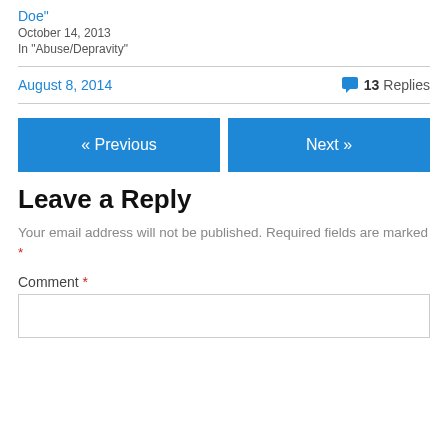Doe"
October 14, 2013
In "Abuse/Depravity"
August 8, 2014    💬 13 Replies
« Previous
Next »
Leave a Reply
Your email address will not be published. Required fields are marked *
Comment *